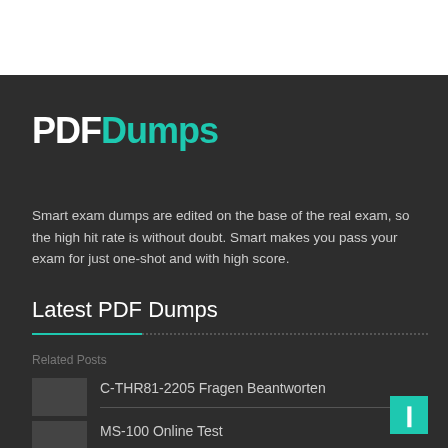[Figure (logo): PDFDumps logo with PDF in white bold text and Dumps in teal bold text]
Smart exam dumps are edited on the base of the real exam, so the high hit rate is without doubt. Smart makes you pass your exam for just one-shot and with high score.
Latest PDF Dumps
Related Posts
C-THR81-2205 Fragen Beantworten
MS-100 Online Test